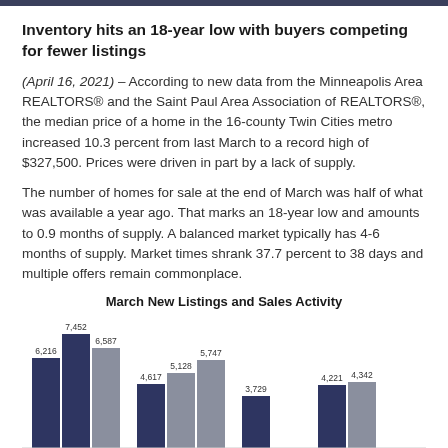Inventory hits an 18-year low with buyers competing for fewer listings
(April 16, 2021) – According to new data from the Minneapolis Area REALTORS® and the Saint Paul Area Association of REALTORS®, the median price of a home in the 16-county Twin Cities metro increased 10.3 percent from last March to a record high of $327,500. Prices were driven in part by a lack of supply.
The number of homes for sale at the end of March was half of what was available a year ago. That marks an 18-year low and amounts to 0.9 months of supply. A balanced market typically has 4-6 months of supply. Market times shrank 37.7 percent to 38 days and multiple offers remain commonplace.
March New Listings and Sales Activity
[Figure (grouped-bar-chart): March New Listings and Sales Activity]